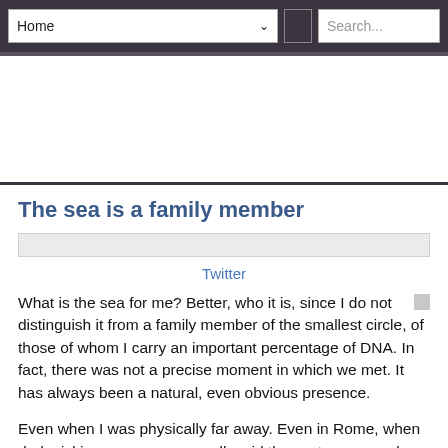Home | Search...
The sea is a family member
Twitter
What is the sea for me? Better, who it is, since I do not distinguish it from a family member of the smallest circle, of those of whom I carry an important percentage of DNA. In fact, there was not a precise moment in which we met. It has always been a natural, even obvious presence.
Even when I was physically far away. Even in Rome, when dad, picking me up, very small, said those strange words: